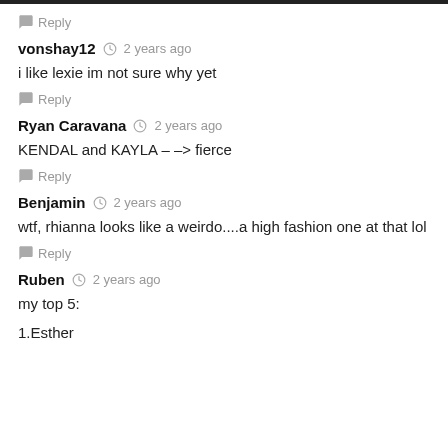Reply
vonshay12 · 2 years ago
i like lexie im not sure why yet
Reply
Ryan Caravana · 2 years ago
KENDAL and KAYLA – –> fierce
Reply
Benjamin · 2 years ago
wtf, rhianna looks like a weirdo....a high fashion one at that lol
Reply
Ruben · 2 years ago
my top 5:
1.Esther